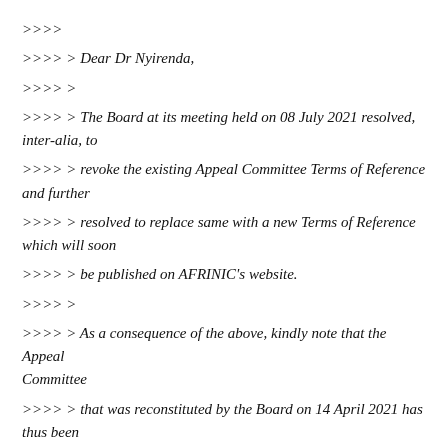>>>>
>>>> > Dear Dr Nyirenda,
>>>> >
>>>> > The Board at its meeting held on 08 July 2021 resolved, inter-alia, to
>>>> > revoke the existing Appeal Committee Terms of Reference and further
>>>> > resolved to replace same with a new Terms of Reference which will soon
>>>> > be published on AFRINIC's website.
>>>> >
>>>> > As a consequence of the above, kindly note that the Appeal Committee
>>>> > that was reconstituted by the Board on 14 April 2021 has thus been